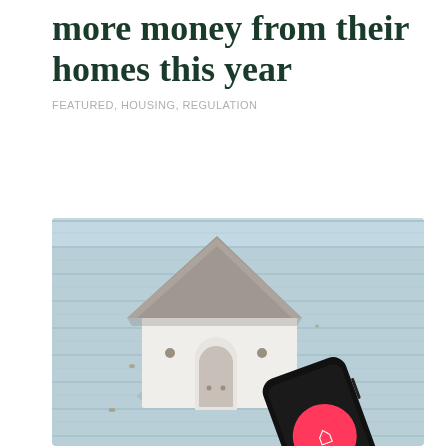more money from their homes this year
FEATURED, HOUSING, REGULATION
[Figure (photo): A miniature white house model with a grey roof sitting on a light blue wooden surface next to a black smartphone displaying the Airbnb app logo (red circle with white Airbnb symbol).]